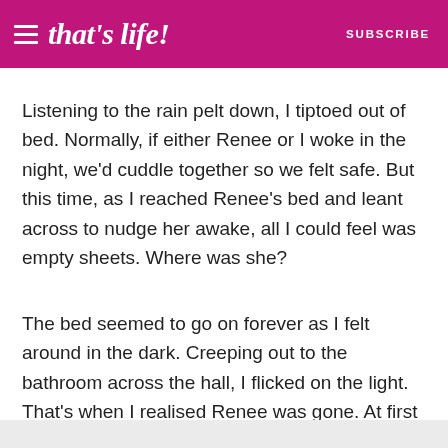that's life! SUBSCRIBE
Listening to the rain pelt down, I tiptoed out of bed. Normally, if either Renee or I woke in the night, we'd cuddle together so we felt safe. But this time, as I reached Renee's bed and leant across to nudge her awake, all I could feel was empty sheets. Where was she?
The bed seemed to go on forever as I felt around in the dark. Creeping out to the bathroom across the hall, I flicked on the light. That's when I realised Renee was gone. At first I didn't want to wake my mum, Morna, so I looked everywhere myself - I even checked the fridge.